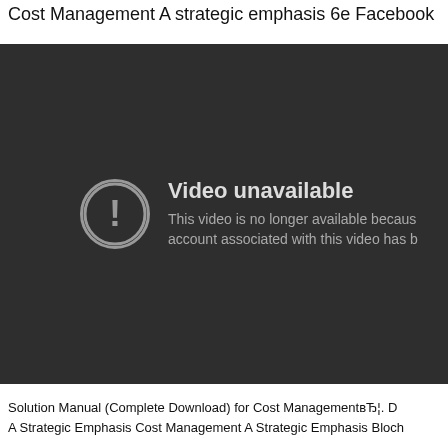Cost Management A strategic emphasis 6e Facebook
[Figure (screenshot): Video unavailable error screen on dark background. Shows a circle with exclamation mark icon and text: 'Video unavailable. This video is no longer available because the account associated with this video has b...']
Solution Manual (Complete Download) for Cost ManagementвЂ¦. D A Strategic Emphasis Cost Management A Strategic Emphasis Bloch